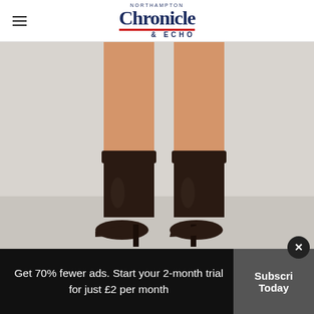Northampton Chronicle & Echo
[Figure (photo): Close-up of a person's legs wearing dark brown/black knee-high heeled boots against a light grey background]
[Figure (infographic): Advertisement for Traveling Mailbox Virtual Postal Mailbox with Open button]
Get 70% fewer ads. Start your 2-month trial for just £2 per month
Subscribe Today